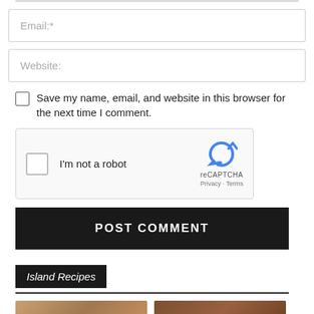Email:*
Website:
Save my name, email, and website in this browser for the next time I comment.
[Figure (other): reCAPTCHA widget with checkbox labeled I'm not a robot and reCAPTCHA logo with Privacy and Terms links]
POST COMMENT
Island Recipes
[Figure (photo): Two thumbnail images at bottom of page]